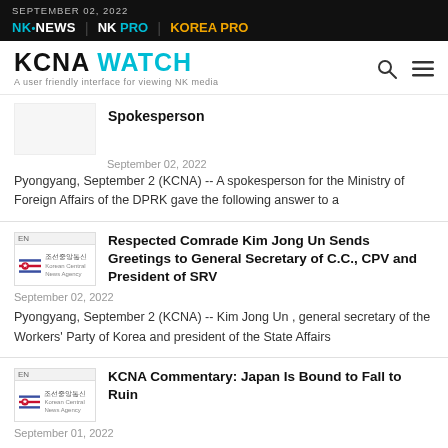SEPTEMBER 02, 2022 | NK NEWS | NK PRO | KOREA PRO
KCNA WATCH — A user friendly interface for viewing NK media
Spokesperson
September 02, 2022
Pyongyang, September 2 (KCNA) -- A spokesperson for the Ministry of Foreign Affairs of the DPRK gave the following answer to a
Respected Comrade Kim Jong Un Sends Greetings to General Secretary of C.C., CPV and President of SRV
September 02, 2022
Pyongyang, September 2 (KCNA) -- Kim Jong Un , general secretary of the Workers' Party of Korea and president of the State Affairs
KCNA Commentary: Japan Is Bound to Fall to Ruin
September 01, 2022
Pyongyang, September 1 (KCNA) -- Japan is planning to equip itself with over 1000 long-range missiles. It is trying to increase